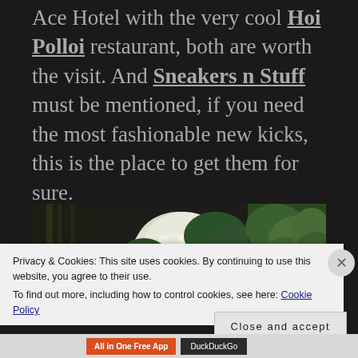Ace Hotel with the very cool Hoi Polloi restaurant, both are worth the visit. And Sneakers n Stuff must be mentioned, if you need the most fashionable new kicks, this is the place to get them for sure.
[Figure (photo): Photo of flowers and plants, including white hydrangeas and green plants, in what appears to be a restaurant or outdoor/indoor setting with dark wooden furniture visible.]
Privacy & Cookies: This site uses cookies. By continuing to use this website, you agree to their use. To find out more, including how to control cookies, see here: Cookie Policy
Close and accept
All in One Free App   DuckDuckGo